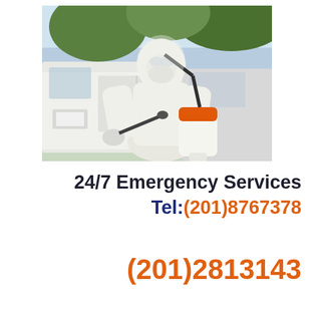[Figure (photo): A person wearing a full white hazmat/protective suit with mask and gloves, holding a sprayer tank with an orange top, standing in front of a white van outdoors.]
24/7 Emergency Services
Tel:(201)8767378
(201)2813143